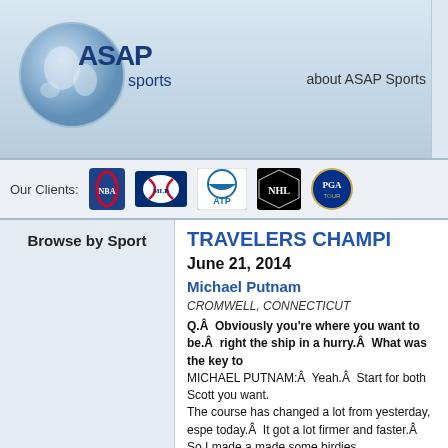[Figure (logo): ASAP Sports logo with globe graphic and 'ASAP sports' text]
about ASAP Sports
[Figure (logo): Sports league client logos: NBA, MLB, ATP, NHL, PGA]
Our Clients:
Browse by Sport
TRAVELERS CHAMPI...
June 21, 2014
Michael Putnam
CROMWELL, CONNECTICUT
Q.Â  Obviously you're where you want to be.Â  You right the ship in a hurry.Â  What was the key to MICHAEL PUTNAM:Â  Yeah.Â  Start for both Scott you want.
The course has changed a lot from yesterday, espe today.Â  It got a lot firmer and faster.Â  So I made a made some birdies.